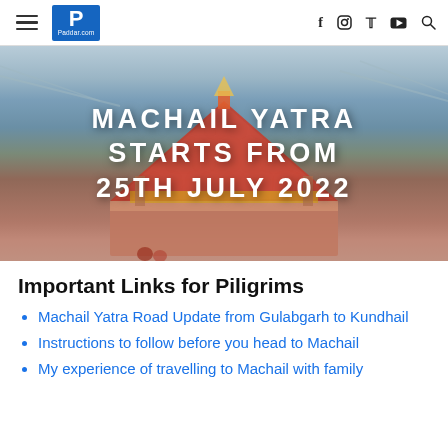Paddar.com navigation bar with hamburger menu, logo (P / Paddar.com), and icons: f (Facebook), Instagram, Twitter, YouTube, Search
[Figure (photo): Hero image of Machail temple with a colorful triangular roof structure against a misty mountain background, with white bold text overlay reading MACHAIL YATRA STARTS FROM 25TH JULY 2022]
Important Links for Piligrims
Machail Yatra Road Update from Gulabgarh to Kundhail
Instructions to follow before you head to Machail
My experience of travelling to Machail with family